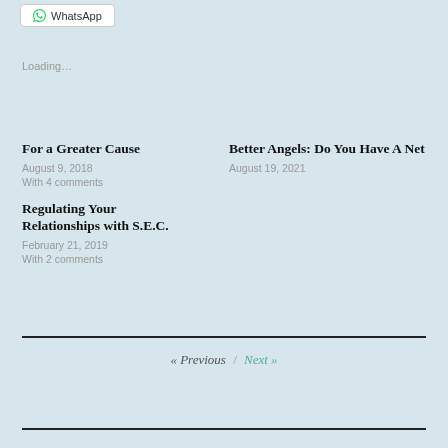WhatsApp
Loading...
For a Greater Cause
August 9, 2018
With 4 comments
Better Angels: Do You Have A Net
August 19, 2021
Regulating Your Relationships with S.E.C.
February 21, 2019
With 2 comments
« Previous / Next »